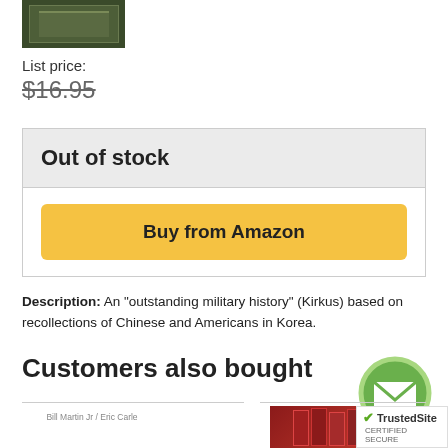[Figure (photo): Book cover image (dark green/olive colored book)]
List price:
$16.95 (strikethrough)
Out of stock
Buy from Amazon
Description: An "outstanding military history" (Kirkus) based on recollections of Chinese and Americans in Korea.
Customers also bought
[Figure (photo): Book thumbnail - left column]
[Figure (photo): Book thumbnail - J.R.R. Tolkien set (red box)]
[Figure (logo): TrustedSite certified secure badge]